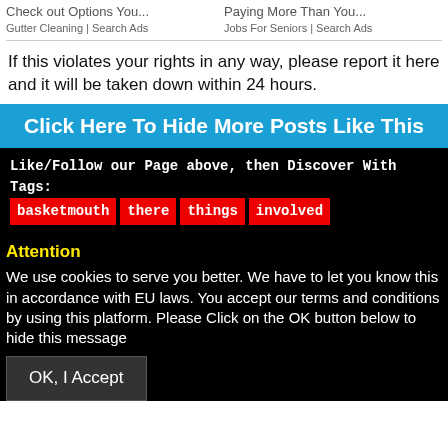Check out Options You...
Gutter Cleaning | Search Ads
Paying More Than You...
Jobs For Seniors | Search Ads
If this violates your rights in any way, please report it here and it will be taken down within 24 hours.
Click Here To Hide More Posts Like This
Like/Follow our Page above, then Discover With Tags:
basketmouth  there  things  involved
Attention
We use cookies to serve you better. We have to let you know this in accordance with EU laws. You accept our terms and conditions by using this platform. Please Click on the OK button below to hide this message
OK, I Accept